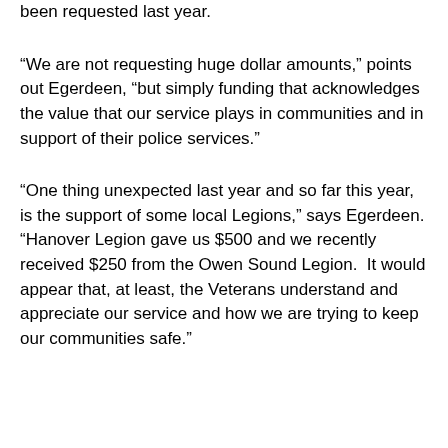been requested last year.
“We are not requesting huge dollar amounts,” points out Egerdeen, “but simply funding that acknowledges the value that our service plays in communities and in support of their police services.”
“One thing unexpected last year and so far this year, is the support of some local Legions,” says Egerdeen. “Hanover Legion gave us $500 and we recently received $250 from the Owen Sound Legion.  It would appear that, at least, the Veterans understand and appreciate our service and how we are trying to keep our communities safe.”